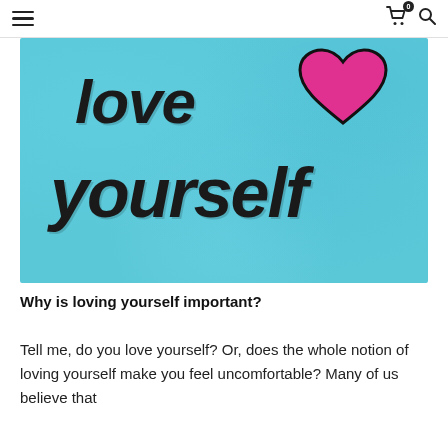Navigation header with hamburger menu, cart icon (0), and search icon
[Figure (illustration): Watercolor-style image with blue/teal background. Handwritten-style text reads 'love yourself' in large black script lettering. A pink heart with black outline is drawn above the word 'love'.]
Why is loving yourself important?
Tell me, do you love yourself? Or, does the whole notion of loving yourself make you feel uncomfortable? Many of us believe that loving ourselves is selfish, but do we?